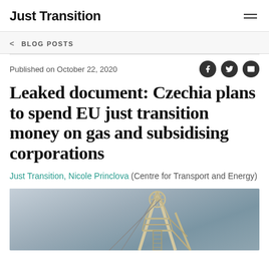Just Transition
< BLOG POSTS
Published on October 22, 2020
Leaked document: Czechia plans to spend EU just transition money on gas and subsidising corporations
Just Transition, Nicole Princlova (Centre for Transport and Energy)
[Figure (photo): Photograph of a mine headframe (pithead wheel/winding tower) against a grey cloudy sky]